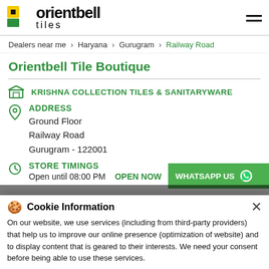orientbell tiles — header with logo and hamburger menu
Dealers near me > Haryana > Gurugram > Railway Road
Orientbell Tile Boutique
KRISHNA COLLECTION TILES & SANITARYWARE
ADDRESS
Ground Floor
Railway Road
Gurugram - 122001
STORE TIMINGS
Open until 08:00 PM   OPEN NOW
WHATSAPP US
Cookie Information
On our website, we use services (including from third-party providers) that help us to improve our online presence (optimization of website) and to display content that is geared to their interests. We need your consent before being able to use these services.
I ACCEPT
CALL   DIRECTIONS